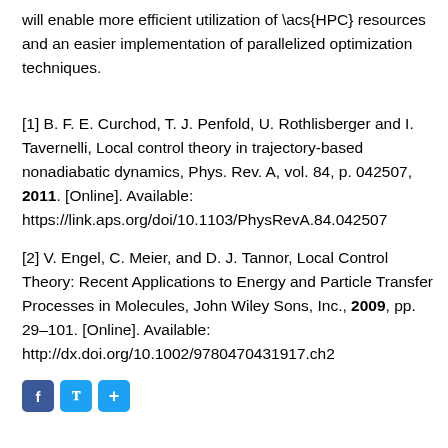will enable more efficient utilization of \acs{HPC} resources and an easier implementation of parallelized optimization techniques.
[1] B. F. E. Curchod, T. J. Penfold, U. Rothlisberger and I. Tavernelli, Local control theory in trajectory-based nonadiabatic dynamics, Phys. Rev. A, vol. 84, p. 042507, 2011. [Online]. Available: https://link.aps.org/doi/10.1103/PhysRevA.84.042507
[2] V. Engel, C. Meier, and D. J. Tannor, Local Control Theory: Recent Applications to Energy and Particle Transfer Processes in Molecules, John Wiley Sons, Inc., 2009, pp. 29–101. [Online]. Available: http://dx.doi.org/10.1002/9780470431917.ch2
[Figure (other): Social sharing buttons: Facebook (f), Twitter (bird icon), and a share (+) button]